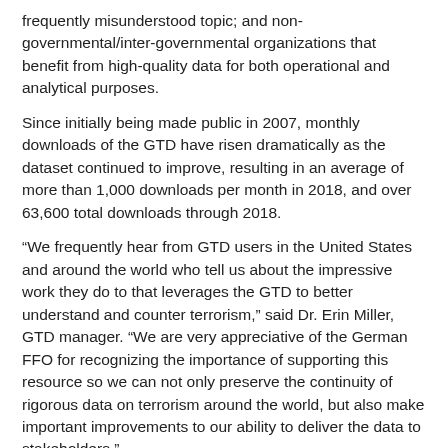frequently misunderstood topic; and non-governmental/inter-governmental organizations that benefit from high-quality data for both operational and analytical purposes.
Since initially being made public in 2007, monthly downloads of the GTD have risen dramatically as the dataset continued to improve, resulting in an average of more than 1,000 downloads per month in 2018, and over 63,600 total downloads through 2018.
“We frequently hear from GTD users in the United States and around the world who tell us about the impressive work they do to that leverages the GTD to better understand and counter terrorism,” said Dr. Erin Miller, GTD manager. “We are very appreciative of the German FFO for recognizing the importance of supporting this resource so we can not only preserve the continuity of rigorous data on terrorism around the world, but also make important improvements to our ability to deliver the data to stakeholders.”
START has compiled and published the GTD for more than a decade but has faced a challenge in securing long-term funding for base data collection.
Without funding from FFO, there would have been a lapse in GTD production, meaning that individual governmental and non-governmental organizations and institutions would have needed to develop individualized, ad hoc strategies for measuring terrorism, or